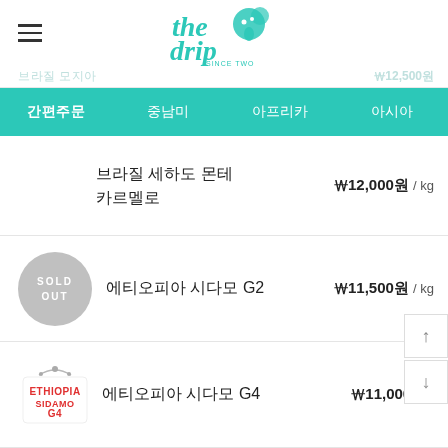the drip (logo)
브라질 모지아... ₩12,500원
간편주문 | 중남미 | 아프리카 | 아시아
브라질 세하도 몬테 카르멜로 ₩12,000원 / kg
에티오피아 시다모 G2 ₩11,500원 / kg (SOLD OUT)
에티오피아 시다모 G4 ₩11,000원 / kg